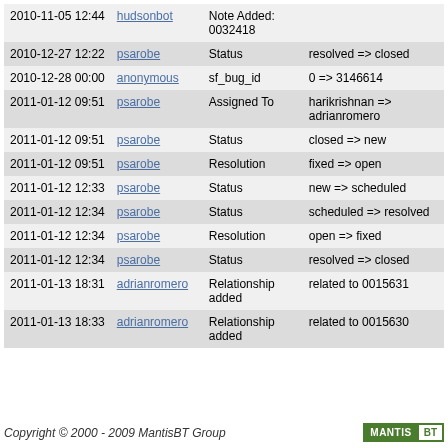| Date | User | Field | Change |
| --- | --- | --- | --- |
| 2010-11-05 12:44 | hudsonbot | Note Added: 0032418 |  |
| 2010-12-27 12:22 | psarobe | Status | resolved => closed |
| 2010-12-28 00:00 | anonymous | sf_bug_id | 0 => 3146614 |
| 2011-01-12 09:51 | psarobe | Assigned To | harikrishnan => adrianromero |
| 2011-01-12 09:51 | psarobe | Status | closed => new |
| 2011-01-12 09:51 | psarobe | Resolution | fixed => open |
| 2011-01-12 12:33 | psarobe | Status | new => scheduled |
| 2011-01-12 12:34 | psarobe | Status | scheduled => resolved |
| 2011-01-12 12:34 | psarobe | Resolution | open => fixed |
| 2011-01-12 12:34 | psarobe | Status | resolved => closed |
| 2011-01-13 18:31 | adrianromero | Relationship added | related to 0015631 |
| 2011-01-13 18:33 | adrianromero | Relationship added | related to 0015630 |
Copyright © 2000 - 2009 MantisBT Group